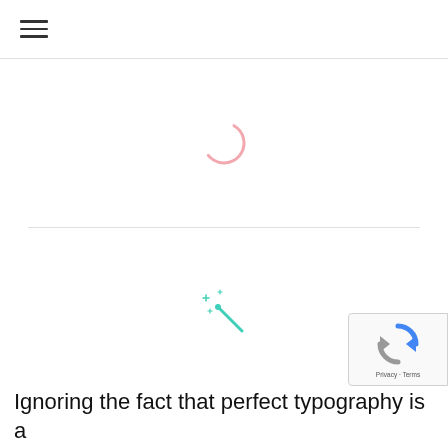≡
[Figure (other): Spinner/loading arc icon, light pink/rose color, partial circle arc]
[Figure (other): Magic wand icon with sparkles, teal/cyan color]
[Figure (other): reCAPTCHA badge with Google reCAPTCHA logo and Privacy - Terms text]
Ignoring the fact that perfect typography is a